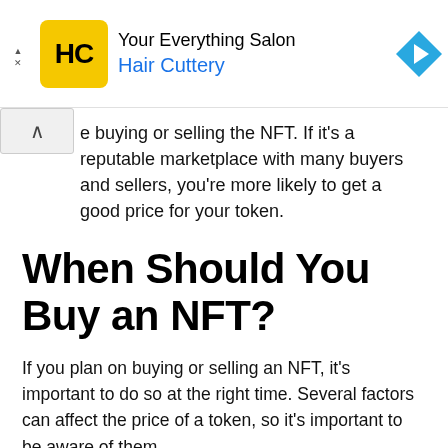[Figure (other): Hair Cuttery advertisement banner with yellow HC logo, navigation arrow icon, collapse button, and partial text about marketplace with buyers and sellers.]
e buying or selling the NFT. If it's a reputable marketplace with many buyers and sellers, you're more likely to get a good price for your token.
When Should You Buy an NFT?
If you plan on buying or selling an NFT, it's important to do so at the right time. Several factors can affect the price of a token, so it's important to be aware of them.